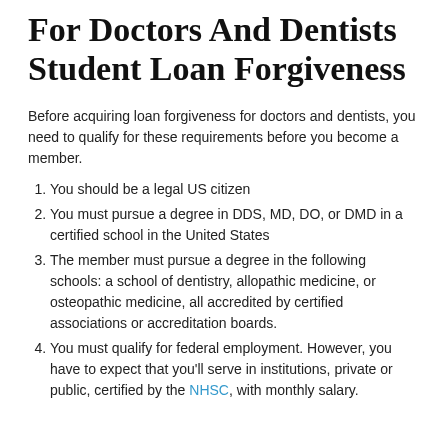For Doctors And Dentists Student Loan Forgiveness
Before acquiring loan forgiveness for doctors and dentists, you need to qualify for these requirements before you become a member.
You should be a legal US citizen
You must pursue a degree in DDS, MD, DO, or DMD in a certified school in the United States
The member must pursue a degree in the following schools: a school of dentistry, allopathic medicine, or osteopathic medicine, all accredited by certified associations or accreditation boards.
You must qualify for federal employment. However, you have to expect that you'll serve in institutions, private or public, certified by the NHSC, with monthly salary.